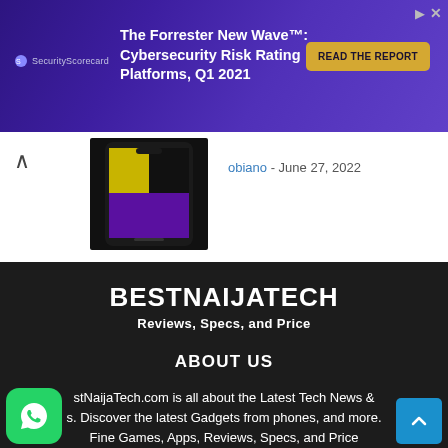[Figure (screenshot): Advertisement banner for SecurityScorecard: 'The Forrester New Wave™: Cybersecurity Risk Rating Platforms, Q1 2021' with a 'READ THE REPORT' CTA button on a purple/violet background.]
obiano - June 27, 2022
[Figure (photo): Thumbnail image of a smartphone (Samsung/Android phone) shown from the front with a colorful wallpaper on a dark background.]
BESTNAIJATECH
Reviews, Specs, and Price
ABOUT US
stNaijaTech.com is all about the Latest Tech News & s. Discover the latest Gadgets from phones, and more. Fine Games, Apps, Reviews, Specs, and Price